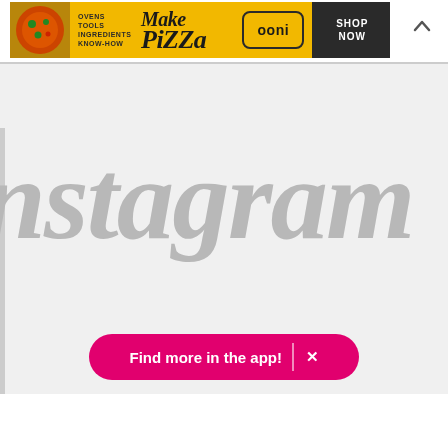[Figure (infographic): Ooni pizza advertisement banner with pizza image, 'OVENS TOOLS INGREDIENTS KNOW-HOW' text, 'Make PIZZA' stylized text, Ooni logo in rounded rectangle, dark block with 'SHOP NOW' text, and chevron up arrow]
[Figure (logo): Instagram logo text in large gray cursive/script font on light gray background, partially cropped showing 'nstagram']
Find more in the app!